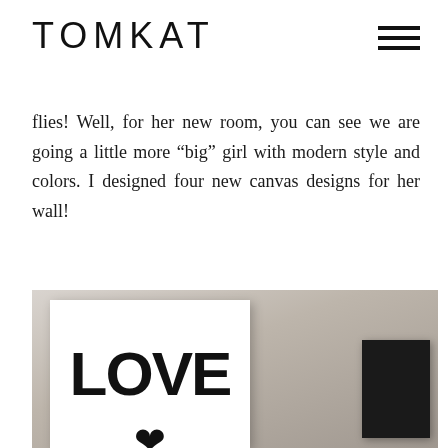TOMKAT
flies! Well, for her new room, you can see we are going a little more “big” girl with modern style and colors. I designed four new canvas designs for her wall!
[Figure (photo): A photograph showing a white canvas on a wall with bold black letters spelling LOVE, with a heart symbol partially visible below, and a dark canvas on the right side. The image is in black and white / grayscale tones.]